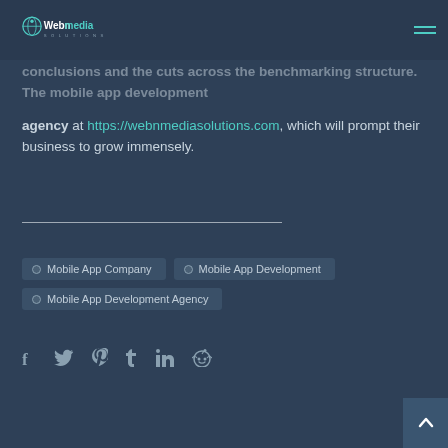Webnmedia Solutions
conclusions and the cuts across the benchmarking structure. The mobile app development agency at https://webnmediasolutions.com, which will prompt their business to grow immensely.
Mobile App Company
Mobile App Development
Mobile App Development Agency
Social share icons: facebook, twitter, pinterest, tumblr, linkedin, reddit